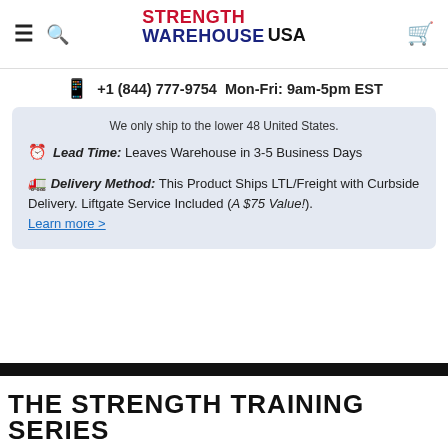≡ 🔍 STRENGTH WAREHOUSE USA [cart]
+1 (844) 777-9754  Mon-Fri: 9am-5pm EST
We only ship to the lower 48 United States.
Lead Time: Leaves Warehouse in 3-5 Business Days
Delivery Method: This Product Ships LTL/Freight with Curbside Delivery. Liftgate Service Included (A $75 Value!). Learn more >
THE STRENGTH TRAINING SERIES